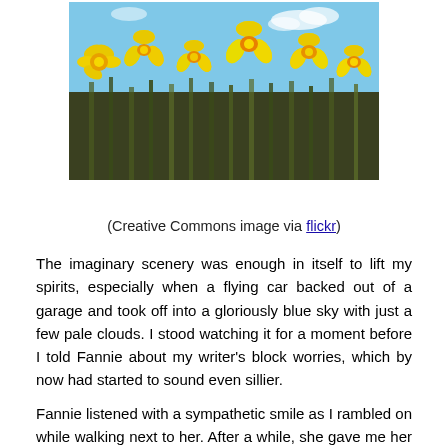[Figure (photo): A field of bright yellow daffodil flowers against a blue sky with a few white clouds.]
(Creative Commons image via flickr)
The imaginary scenery was enough in itself to lift my spirits, especially when a flying car backed out of a garage and took off into a gloriously blue sky with just a few pale clouds. I stood watching it for a moment before I told Fannie about my writer’s block worries, which by now had started to sound even sillier.
Fannie listened with a sympathetic smile as I rambled on while walking next to her. After a while, she gave me her advice. “Just